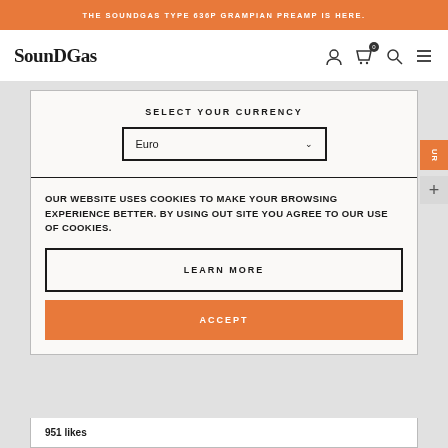THE SOUNDGAS TYPE 636P GRAMPIAN PREAMP IS HERE.
[Figure (logo): SoundGas logo with stylized text and navigation icons including user, cart (0), search, and menu]
SELECT YOUR CURRENCY
Euro
OUR WEBSITE USES COOKIES TO MAKE YOUR BROWSING EXPERIENCE BETTER. BY USING OUT SITE YOU AGREE TO OUR USE OF COOKIES.
LEARN MORE
ACCEPT
951 likes